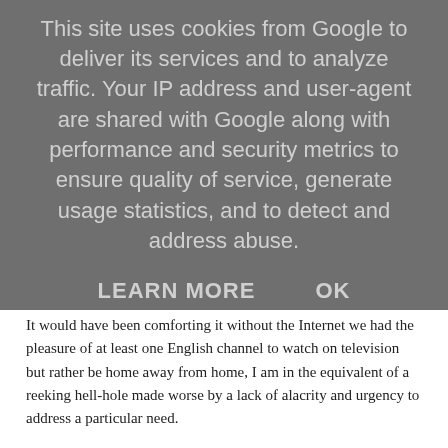This site uses cookies from Google to deliver its services and to analyze traffic. Your IP address and user-agent are shared with Google along with performance and security metrics to ensure quality of service, generate usage statistics, and to detect and address abuse.
LEARN MORE   OK
It would have been comforting it without the Internet we had the pleasure of at least one English channel to watch on television but rather be home away from home, I am in the equivalent of a reeking hell-hole made worse by a lack of alacrity and urgency to address a particular need.
Once again, I was told it was a free service to which I said, I did not care if it was free or paid for, the reason business people choose hotels is for the convenience of being able to go online.
Pissing off the customer
For her faux pas, she then said I was not like their typical customer, there are 6 of my team in that hotel for 3 weeks, I as much as threatened to pull out all the team and seek a more amenable hotel, considering we did leave another hotel for Villa Bellagio after two nights.